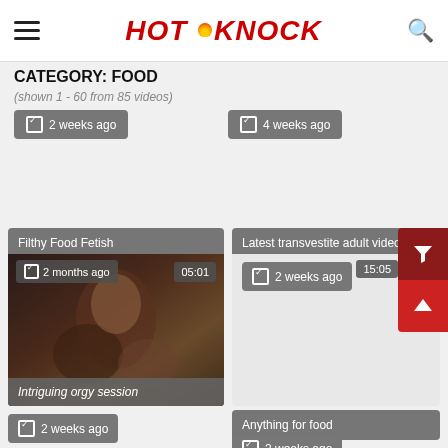HOT KNOCK
CATEGORY: FOOD
(shown 1 - 60 from 85 videos)
2 weeks ago
4 weeks ago
Filthy Food Fetish
2 months ago
05:01
Intriguing orgy session
Latest transvestite adult videos at
2 weeks ago
Anything for food
2 weeks ago
2 weeks ago